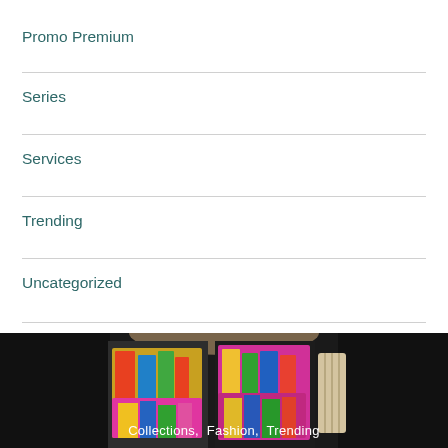Promo Premium
Series
Services
Trending
Uncategorized
What they think
[Figure (photo): Two women wearing colorful patterned dresses, cropped at torso level, dark background]
Collections,  Fashion,  Trending